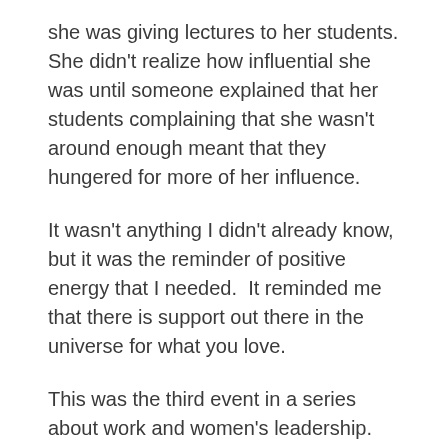she was giving lectures to her students. She didn't realize how influential she was until someone explained that her students complaining that she wasn't around enough meant that they hungered for more of her influence.
It wasn't anything I didn't already know, but it was the reminder of positive energy that I needed.  It reminded me that there is support out there in the universe for what you love.
This was the third event in a series about work and women's leadership.  The first two were ambition and power.  I can only imagine how awesome those two events were.  This event sold out in three hours. Yes, I was extremely lucky to get a ticket. One